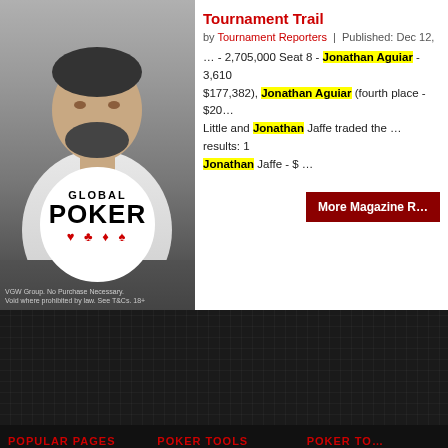[Figure (photo): Man in white shirt with beard, Global Poker logo overlay circle with suits symbols]
Tournament Trail
by Tournament Reporters | Published: Dec 12, ... - 2,705,000 Seat 8 - Jonathan Aguiar - 3,610 $177,382), Jonathan Aguiar (fourth place - $200 Little and Jonathan Jaffe traded the … results: 1 Jonathan Jaffe - $ …
More Magazine R…
POPULAR PAGES
POKER TOOLS
POKER TO…
Poker News
Poker Videos
Poker Players
Poker Leaderboards
Poker Blogs
Poker Twitter
Nevada
California
Florida
Pennsylvania
How to Play Poker
Poker Rules
Poker Hand Rankings
Poker Tools
Hold'em Poker Odds Calculator
Omaha Poker Odds Calculator
Poker Training
Poker Strategy
Poker Magazine
Poker Tou…
Poker Cas…
World Ser…
World Pok…
European…
NBC Hea…
WSOP Ci…
Card Play…